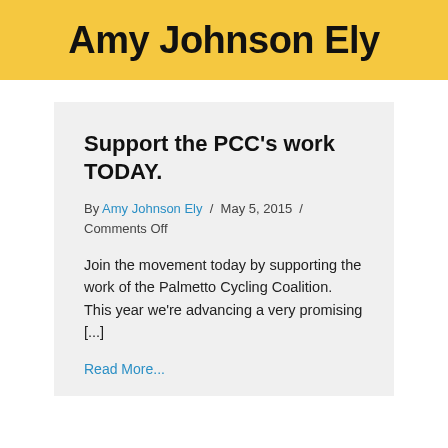Amy Johnson Ely
Support the PCC’s work TODAY.
By Amy Johnson Ely / May 5, 2015 / Comments Off
Join the movement today by supporting the work of the Palmetto Cycling Coalition.  This year we’re advancing a very promising [...]
Read More...